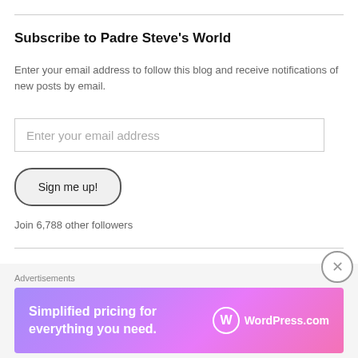Subscribe to Padre Steve's World
Enter your email address to follow this blog and receive notifications of new posts by email.
Enter your email address
Sign me up!
Join 6,788 other followers
Comment Policy
Friends of Padre Steve's World I welcome comments, even those which disagree with my positions and articles. however, this forum can be...
Advertisements
[Figure (infographic): WordPress.com advertisement banner: 'Simplified pricing for everything you need.' with WordPress.com logo on a purple/pink gradient background.]